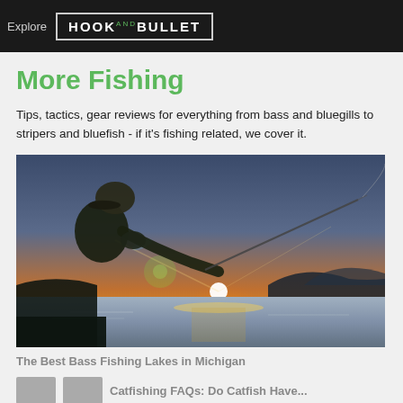Explore HOOK AND BULLET
More Fishing
Tips, tactics, gear reviews for everything from bass and bluegills to stripers and bluefish - if it's fishing related, we cover it.
[Figure (photo): A person fishing at sunset on a lake, silhouetted against a bright orange and yellow sun with light reflecting on the water, holding a fishing rod]
The Best Bass Fishing Lakes in Michigan
Catfishing FAQs: Do Catfish Have...